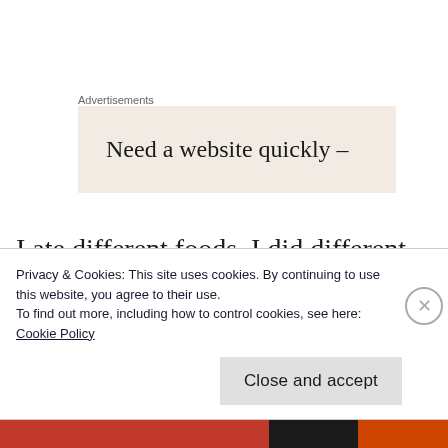Advertisements
[Figure (other): Advertisement box with beige background showing text 'Need a website quickly –']
I ate different foods, I did different things, I had a different schedule, and I slept different hours. I didn't sleep nearly enough, that's for sure, but I managed. I got pretty sleepy when I
Privacy & Cookies: This site uses cookies. By continuing to use this website, you agree to their use.
To find out more, including how to control cookies, see here:
Cookie Policy
Close and accept